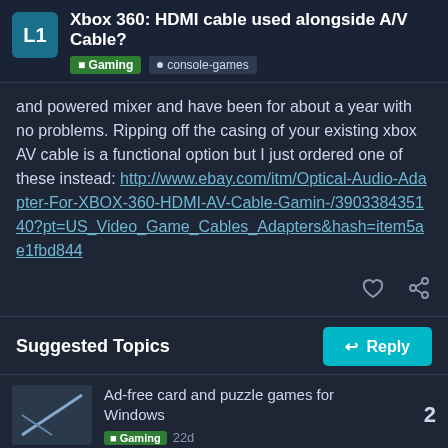Xbox 360: HDMI cable used alongside A/V Cable? • Gaming • console-games
and powered mixer and have been for about a year with no problems. Ripping off the casing of your existing xbox AV cable is a functional option but I just ordered one of these instead: http://www.ebay.com/itm/Optical-Audio-Adapter-For-XBOX-360-HDMI-AV-Cable-Gamin-/390338435140?pt=US_Video_Game_Cables_Adapters&hash=item5ae1fbd844
Suggested Topics
Ad-free card and puzzle games for Windows
Gaming
22d
2
Antonline trustworthy?
9 / 10